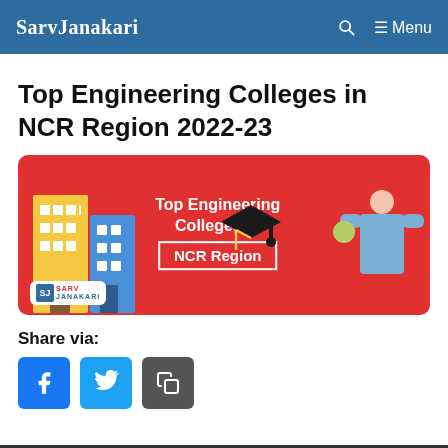SarvJanakari — Menu
Top Engineering Colleges in NCR Region 2022-23
[Figure (illustration): Red banner image showing a building illustration on the left, center text 'Top Engineering Colleges in NCR Region' with a white border box around 'NCR Region', a graduation cap illustration, a woman in a hard hat giving thumbs up on the right, and SarvJanakari logo at bottom left.]
Share via:
[Figure (infographic): Three social share buttons: Facebook (blue), Twitter (light blue), and Copy/Clipboard (gray)]